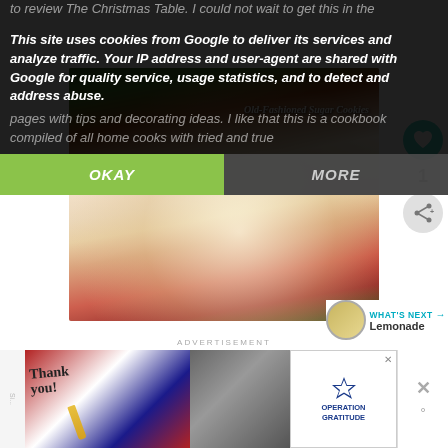This site uses cookies from Google to deliver its services and analyze traffic. Your IP address and user-agent are shared with Google for quality service, usage statistics, and to detect and address abuse.
pages with tips and decorating ideas. I like that this is a cookbook compiled of all home cooks with tried and true
OKAY
MORE
[Figure (photo): Photo of Old-Fashioned Sugar Cookies on a plate with Christmas decorations and sprinkles, with text 'Old-Fashioned Sugar Cookies' overlaid]
1
WHAT'S NEXT → Lemonade
ADVERTISEMENT
[Figure (photo): Advertisement banner showing 'Thank you' with American flag imagery and Operation Gratitude logo]